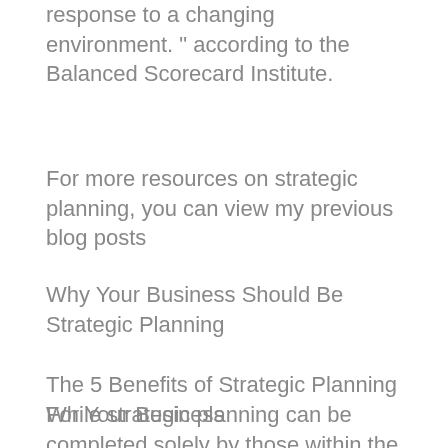response to a changing environment. “ according to the Balanced Scorecard Institute.
For more resources on strategic planning, you can view my previous blog posts
Why Your Business Should Be Strategic Planning
The 5 Benefits of Strategic Planning For Your Business
While strategic planning can be completed solely by those within the